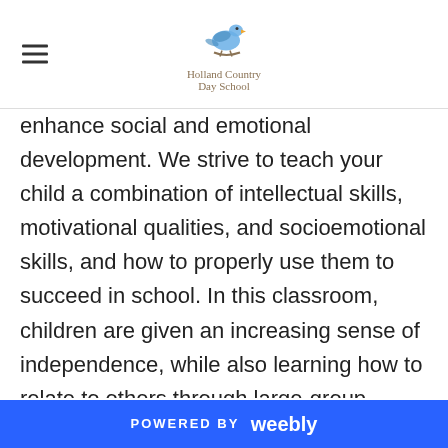Holland Country Day School
enhance social and emotional development. We strive to teach your child a combination of intellectual skills, motivational qualities, and socioemotional skills, and how to properly use them to succeed in school. In this classroom, children are given an increasing sense of independence, while also learning how to relate to others through large-group activities which are an essential part of the day. During our creative play time, we use our imagination with action toys, dress-up clothes, and food center play. We practice sharing, patience, communicating with peers through
POWERED BY weebly